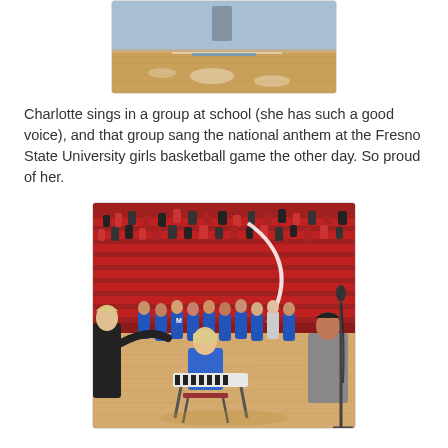[Figure (photo): Top portion of a basketball court interior, showing the hardwood floor with light reflections and part of the arena.]
Charlotte sings in a group at school (she has such a good voice), and that group sang the national anthem at the Fresno State University girls basketball game the other day. So proud of her.
[Figure (photo): A group of children in blue t-shirts standing on a basketball court at Fresno State University, singing the national anthem. A woman in blue sits at a keyboard, and another person stands at a microphone on the right. The arena seating is visible in the background filled with spectators.]